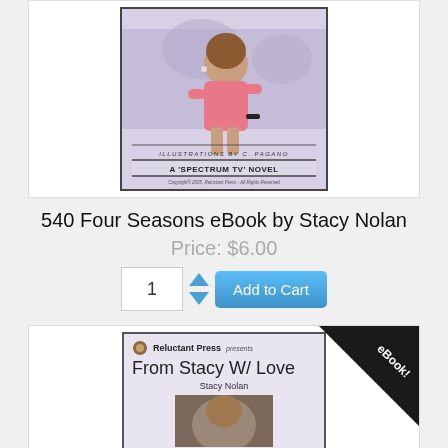[Figure (illustration): Book cover for '540 Four Seasons eBook' showing a woman in pink top, with 'ILLUSTRATIONS BY C. PAGANO', 'A SPECTRUM TV NOVEL', and copyright text at bottom]
540 Four Seasons eBook by Stacy Nolan
Price: $6.00
[Figure (illustration): Book cover for 'From Stacy W/ Love' by Stacy Nolan, published by Reluctant Press, with eBook badge in corner]